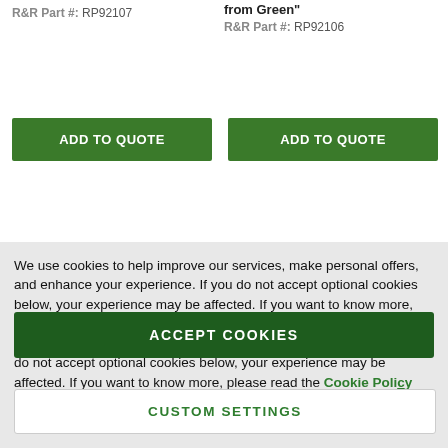R&R Part #: RP92107
from Green"
R&R Part #: RP92106
ADD TO QUOTE
ADD TO QUOTE
We use cookies to help improve our services, make personal offers, and enhance your experience. If you do not accept optional cookies below, your experience may be affected. If you want to know more, please read the Cookie Policy -> We use cookies to improve our services, make personal offers, and enhance your experience. If you do not accept optional cookies below, your experience may be affected. If you want to know more, please read the Cookie Policy
ACCEPT COOKIES
CUSTOM SETTINGS